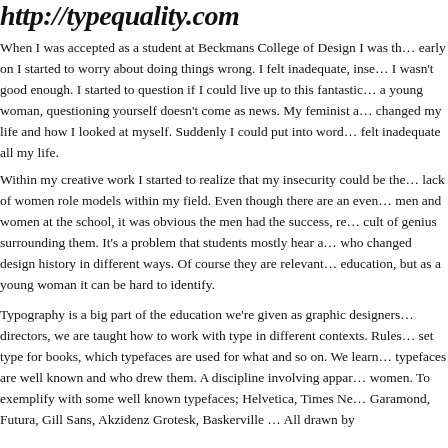http://typequality.com
When I was accepted as a student at Beckmans College of Design I was th… early on I started to worry about doing things wrong. I felt inadequate, inse… I wasn't good enough. I started to question if I could live up to this fantastic… a young woman, questioning yourself doesn't come as news. My feminist a… changed my life and how I looked at myself. Suddenly I could put into word… felt inadequate all my life.
Within my creative work I started to realize that my insecurity could be the… lack of women role models within my field. Even though there are an even… men and women at the school, it was obvious the men had the success, re… cult of genius surrounding them. It's a problem that students mostly hear a… who changed design history in different ways. Of course they are relevant… education, but as a young woman it can be hard to identify.
Typography is a big part of the education we're given as graphic designers… directors, we are taught how to work with type in different contexts. Rules… set type for books, which typefaces are used for what and so on. We learn… typefaces are well known and who drew them. A discipline involving appar… women. To exemplify with some well known typefaces; Helvetica, Times Ne… Garamond, Futura, Gill Sans, Akzidenz Grotesk, Baskerville … All drawn by